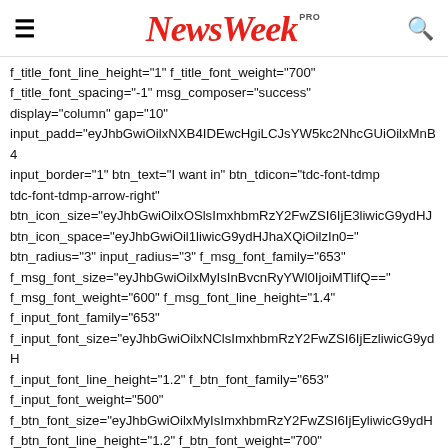NewsWeek PRO
f_title_font_line_height="1" f_title_font_weight="700" f_title_font_spacing="-1" msg_composer="success" display="column" gap="10" input_padd="eyJhbGwiOilxNXB4IDEwcHgiLCJsYW5kc2NhcGUiOilxMnB4 input_border="1" btn_text="I want in" btn_tdicon="tdc-font-tdmp tdc-font-tdmp-arrow-right" btn_icon_size="eyJhbGwiOilxOSlsImxhbmRzY2FwZSI6IjE3liwicG9ydHJ btn_icon_space="eyJhbGwiOil1liwicG9ydHJhaXQiOilzIn0=" btn_radius="3" input_radius="3" f_msg_font_family="653" f_msg_font_size="eyJhbGwiOilxMyIsInBvcnRyYWl0IjoiMTlifQ==" f_msg_font_weight="600" f_msg_font_line_height="1.4" f_input_font_family="653" f_input_font_size="eyJhbGwiOilxNClsImxhbmRzY2FwZSI6IjEzliwicG9ydH f_input_font_line_height="1.2" f_btn_font_family="653" f_input_font_weight="500" f_btn_font_size="eyJhbGwiOilxMyIsImxhbmRzY2FwZSI6IjEyliwicG9ydH f_btn_font_line_height="1.2" f_btn_font_weight="700" f_pp_font_family="653" f_pp_font_size="eyJhbGwiOilxMyIsImxhbmRzY2FwZSI6IjEyliwicG9ydH